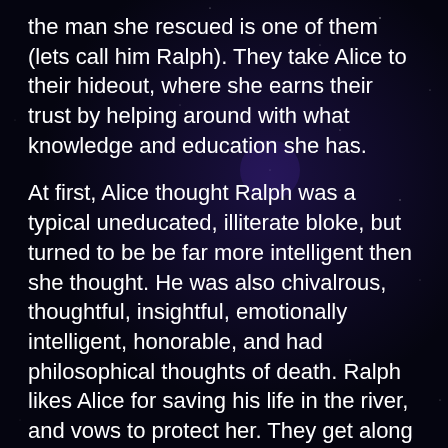the man she rescued is one of them (lets call him Ralph). They take Alice to their hideout, where she earns their trust by helping around with what knowledge and education she has.

At first, Alice thought Ralph was a typical uneducated, illiterate bloke, but turned to be be far more intelligent then she thought. He was also chivalrous, thoughtful, insightful, emotionally intelligent, honorable, and had philosophical thoughts of death. Ralph likes Alice for saving his life in the river, and vows to protect her. They get along well, and Alice becomes his sort of tutor to help Ralph learn to read and write. She even helps him out with the Gang in stealing (they are Royalist Highwaymen stealing from Puritans and